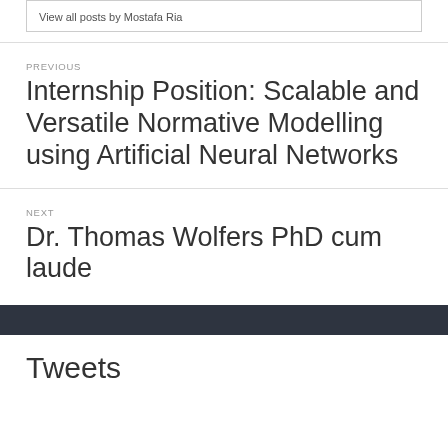View all posts by Mostafa Ria
PREVIOUS
Internship Position: Scalable and Versatile Normative Modelling using Artificial Neural Networks
NEXT
Dr. Thomas Wolfers PhD cum laude
Tweets